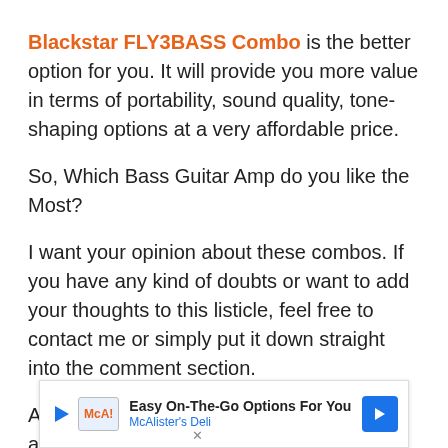Blackstar FLY3BASS Combo is the better option for you. It will provide you more value in terms of portability, sound quality, tone-shaping options at a very affordable price.
So, Which Bass Guitar Amp do you like the Most?
I want your opinion about these combos. If you have any kind of doubts or want to add your thoughts to this listicle, feel free to contact me or simply put it down straight into the comment section.
Also, Don't forget to share this list of affordable bass amplifiers with your buddies, so they can also pick one amazing combo for their practice time.
[Figure (other): Advertisement banner for McAlister's Deli with text 'Easy On-The-Go Options For You' and 'McAlister's Deli']